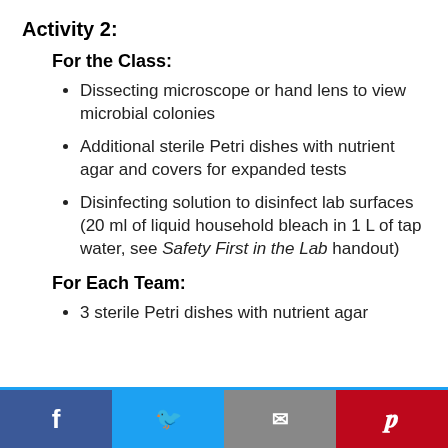Activity 2:
For the Class:
Dissecting microscope or hand lens to view microbial colonies
Additional sterile Petri dishes with nutrient agar and covers for expanded tests
Disinfecting solution to disinfect lab surfaces (20 ml of liquid household bleach in 1 L of tap water, see Safety First in the Lab handout)
For Each Team:
3 sterile Petri dishes with nutrient agar
Social share bar: Facebook, Twitter, Email, Pinterest